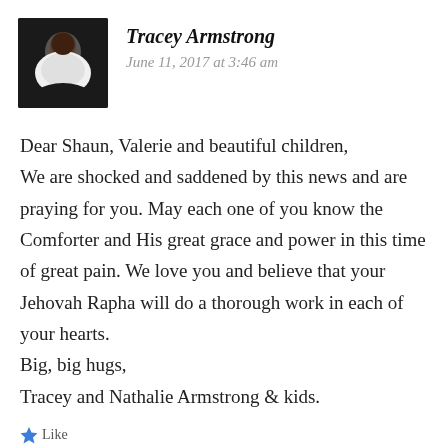[Figure (photo): Profile photo of a man in a white shirt against a dark background]
Tracey Armstrong
June 11, 2017 at 3:46 am
Dear Shaun, Valerie and beautiful children, We are shocked and saddened by this news and are praying for you. May each one of you know the Comforter and His great grace and power in this time of great pain. We love you and believe that your Jehovah Rapha will do a thorough work in each of your hearts.
Big, big hugs,
Tracey and Nathalie Armstrong & kids.
Like